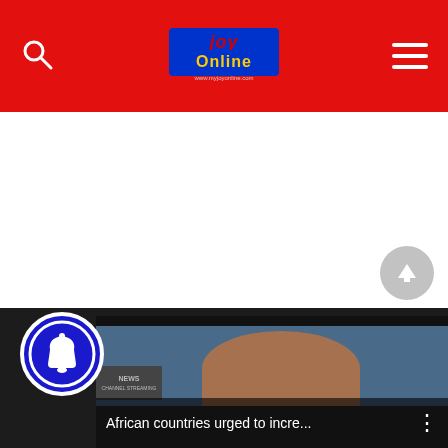Joy Online — navigation bar with search icon, Joy Online logo, and hamburger menu
[Figure (screenshot): White blank content area below the navigation bar]
[Figure (screenshot): Scroll-to-top circular arrow button, grey semi-transparent, bottom right]
[Figure (screenshot): Blue circular notification bell icon, bottom left overlay]
[Figure (screenshot): Video thumbnail for 'African countries urged to incre...' with dark background, person visible, three-dot menu icon]